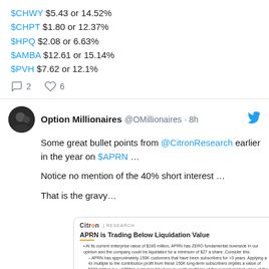$CHWY $5.43 or 14.52%
$CHPT $1.80 or 12.37%
$HPQ $2.08 or 6.63%
$AMBA $12.61 or 15.14%
$PVH $7.62 or 12.1%
2 comments, 6 likes
Option Millionaires @OMillionaires · 8h
Some great bullet points from @CitronResearch earlier in the year on $APRN …

Notice no mention of the 40% short interest …

That is the gravy…
[Figure (screenshot): Citron Research embedded document showing 'APRN is Trading Below Liquidation Value' with bullet points about APRN's enterprise value, customers, and New Jersey facility.]